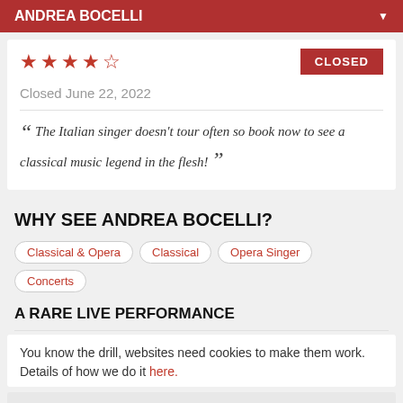ANDREA BOCELLI
★★★★☆
CLOSED
Closed June 22, 2022
The Italian singer doesn't tour often so book now to see a classical music legend in the flesh!
WHY SEE ANDREA BOCELLI?
Classical & Opera
Classical
Opera Singer
Concerts
A RARE LIVE PERFORMANCE
You know the drill, websites need cookies to make them work. Details of how we do it here.
Got it!